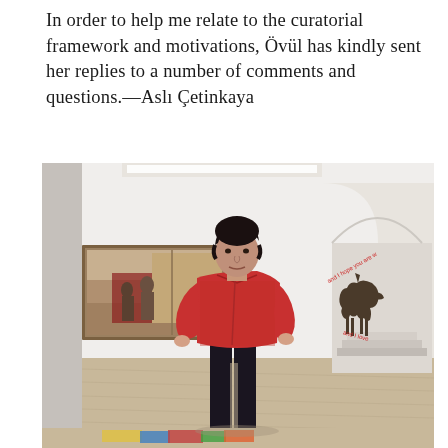In order to help me relate to the curatorial framework and motivations, Övül has kindly sent her replies to a number of comments and questions.—Aslı Çetinkaya
[Figure (photo): A woman in a red patterned shirt and dark jeans stands in a white gallery space. Behind her on the left wall hangs a large realist painting depicting figures in an interior. To her right is an arched opening in the wall with steps beyond, and on the curved wall within the arch there is text in red reading in a circle and an image of a donkey. On the floor near the bottom of the image are colorful artworks.]